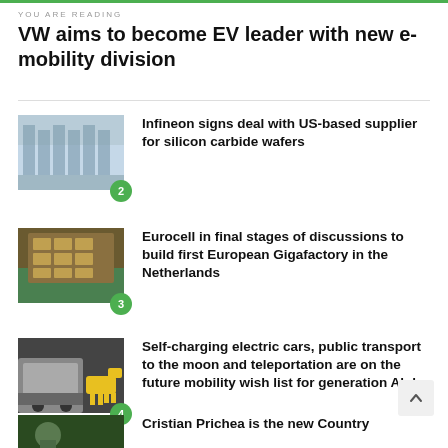YOU ARE READING
VW aims to become EV leader with new e-mobility division
2 — Infineon signs deal with US-based supplier for silicon carbide wafers
3 — Eurocell in final stages of discussions to build first European Gigafactory in the Netherlands
4 — Self-charging electric cars, public transport to the moon and teleportation are on the future mobility wish list for generation Alpha
5 — Cristian Prichea is the new Country